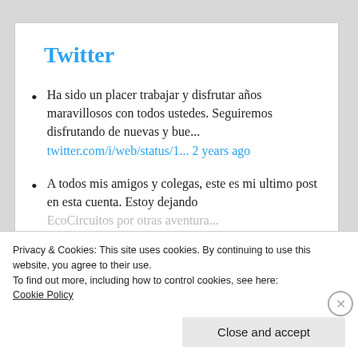Twitter
Ha sido un placer trabajar y disfrutar años maravillosos con todos ustedes. Seguiremos disfrutando de nuevas y bue... twitter.com/i/web/status/1... 2 years ago
A todos mis amigos y colegas, este es mi ultimo post en esta cuenta. Estoy dejando EcoCircuitos por otras aventura...
Privacy & Cookies: This site uses cookies. By continuing to use this website, you agree to their use.
To find out more, including how to control cookies, see here:
Cookie Policy
Close and accept